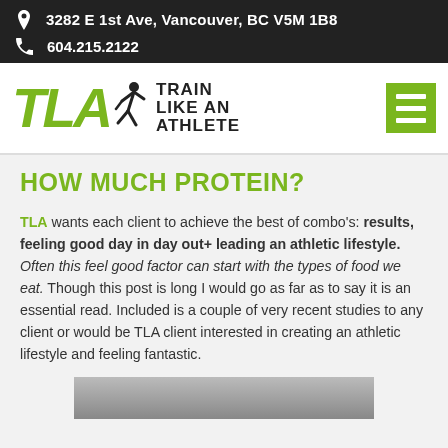3282 E 1st Ave, Vancouver, BC V5M 1B8
604.215.2122
[Figure (logo): TLA – Train Like An Athlete logo with green letters TLA, silhouette of a running athlete, and bold black text TRAIN LIKE AN ATHLETE]
HOW MUCH PROTEIN?
TLA wants each client to achieve the best of combo's: results, feeling good day in day out+ leading an athletic lifestyle. Often this feel good factor can start with the types of food we eat. Though this post is long I would go as far as to say it is an essential read. Included is a couple of very recent studies to any client or would be TLA client interested in creating an athletic lifestyle and feeling fantastic.
[Figure (photo): Partial photo of a person holding their midsection, bottom of page]